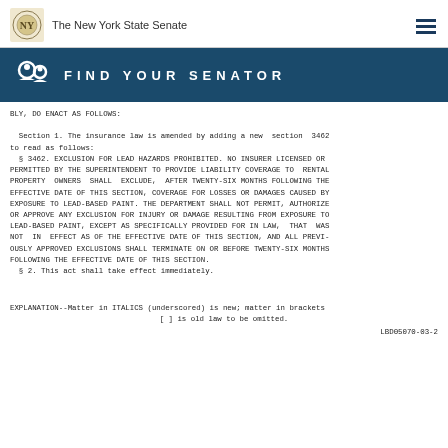The New York State Senate
[Figure (infographic): Find Your Senator banner with person/search icon on dark blue background]
BLY, DO ENACT AS FOLLOWS:

  Section 1. The insurance law is amended by adding a new  section  3462 to read as follows:
  § 3462. EXCLUSION FOR LEAD HAZARDS PROHIBITED. NO INSURER LICENSED OR PERMITTED BY THE SUPERINTENDENT TO PROVIDE LIABILITY COVERAGE TO  RENTAL PROPERTY  OWNERS  SHALL  EXCLUDE,  AFTER TWENTY-SIX MONTHS FOLLOWING THE EFFECTIVE DATE OF THIS SECTION, COVERAGE FOR LOSSES OR DAMAGES CAUSED BY EXPOSURE TO LEAD-BASED PAINT. THE DEPARTMENT SHALL NOT PERMIT, AUTHORIZE OR APPROVE ANY EXCLUSION FOR INJURY OR DAMAGE RESULTING FROM EXPOSURE TO LEAD-BASED PAINT, EXCEPT AS SPECIFICALLY PROVIDED FOR IN LAW,  THAT  WAS NOT  IN  EFFECT AS OF THE EFFECTIVE DATE OF THIS SECTION, AND ALL PREVI-OUSLY APPROVED EXCLUSIONS SHALL TERMINATE ON OR BEFORE TWENTY-SIX MONTHS FOLLOWING THE EFFECTIVE DATE OF THIS SECTION.
  § 2. This act shall take effect immediately.
EXPLANATION--Matter in ITALICS (underscored) is new; matter in brackets
[ ] is old law to be omitted.
LBD05070-03-2